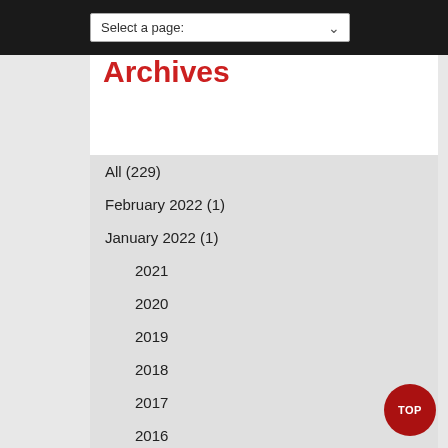Select a page:
Archives
All (229)
February 2022 (1)
January 2022 (1)
2021
2020
2019
2018
2017
2016
2015
2014
2013
2012
2011
2010
2009